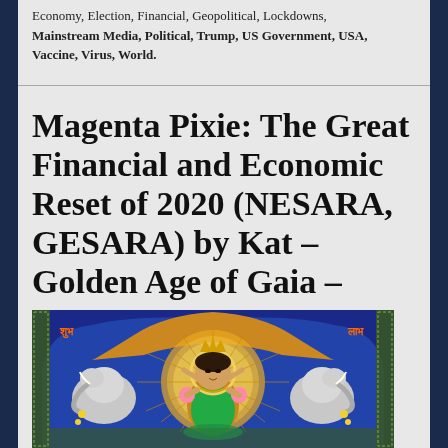Economy, Election, Financial, Geopolitical, Lockdowns, Mainstream Media, Political, Trump, US Government, USA, Vaccine, Virus, World.
Magenta Pixie: The Great Financial and Economic Reset of 2020 (NESARA, GESARA) by Kat – Golden Age of Gaia – May 23, 2020
[Figure (illustration): Colorful Hindu deity illustration (Lakshmi) flanked by elephants, with ornate decorative border. Text 'शुभ' on left and 'लाभ' on right.]